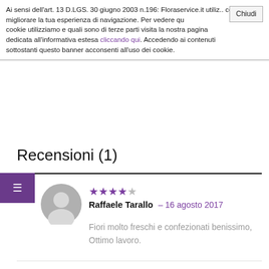Ai sensi dell'art. 13 D.LGS. 30 giugno 2003 n.196: Floraservice.it utilizza cookie per migliorare la tua esperienza di navigazione. Per vedere quali cookie utilizziamo e quali sono di terze parti visita la nostra pagina dedicata all'informativa estesa cliccando qui. Accedendo ai contenuti sottostanti questo banner acconsenti all'uso dei cookie.
Recensioni (1)
[Figure (other): User avatar silhouette, gray circle with person icon]
★★★★☆ Raffaele Tarallo – 16 agosto 2017
Fiori molto freschi e confezionati benissimo, Ottimo lavoro.
Aggiungi una recensione
LA TUA VALUTAZIONE